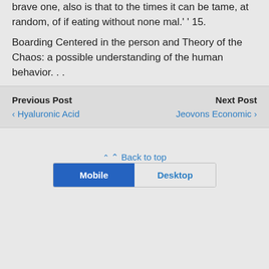brave one, also is that to the times it can be tame, at random, of if eating without none mal.' ' 15.
Boarding Centered in the person and Theory of the Chaos: a possible understanding of the human behavior. . .
Previous Post
‹ Hyaluronic Acid
Next Post
Jeovons Economic ›
⌃ Back to top
[Figure (other): Mobile/Desktop toggle button: Mobile button is active (blue), Desktop button is inactive (gray)]